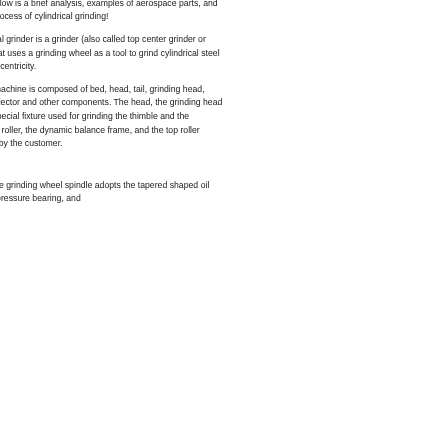grinding diameter. Below is a brief analysis, examples of aerospace parts, and the Cnc Machining process of cylindrical grinding!
Work Ideas:Cylindrical grinder is a grinder (also called top center grinder or cylindrical grinder) that uses a grinding wheel as a tool to grind cylindrical steel parts into precise concentricity.
Structure:The main machine is composed of bed, head, tail, grinding head, transmission dust collector and other components. The head, the grinding head can be rotated, the special fixture used for grinding the thimble and the chamfering of the top roller, the dynamic balance frame, and the top roller detector are ordered by the customer.
Features:
The bearing of the grinding wheel spindle adopts the tapered shaped oil wedge dynamic pressure bearing, and